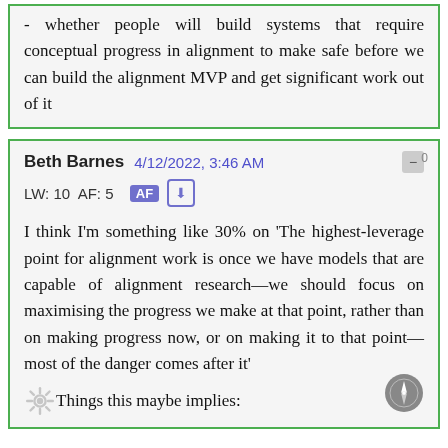- whether people will build systems that require conceptual progress in alignment to make safe before we can build the alignment MVP and get significant work out of it
Beth Barnes  4/12/2022, 3:46 AM
LW: 10 AF: 5  AF
I think I'm something like 30% on 'The highest-leverage point for alignment work is once we have models that are capable of alignment research—we should focus on maximising the progress we make at that point, rather than on making progress now, or on making it to that point—most of the danger comes after it'
Things this maybe implies: